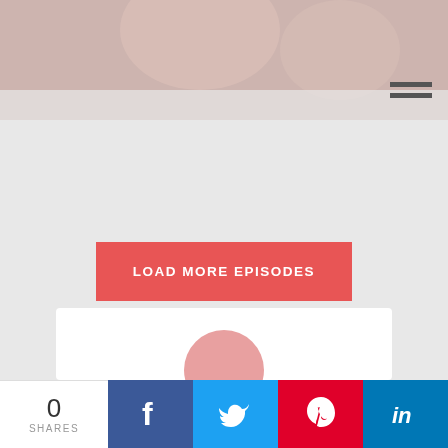[Figure (photo): Partial photo of people at top of page, cropped]
[Figure (other): Hamburger/menu icon with two horizontal lines]
LOAD MORE EPISODES
COME FIND ME ON INSTAGRAM!
[Figure (other): White card with partial pink circle (Instagram profile area)]
0 SHARES
[Figure (other): Social share bar with Facebook, Twitter, Pinterest, LinkedIn buttons]